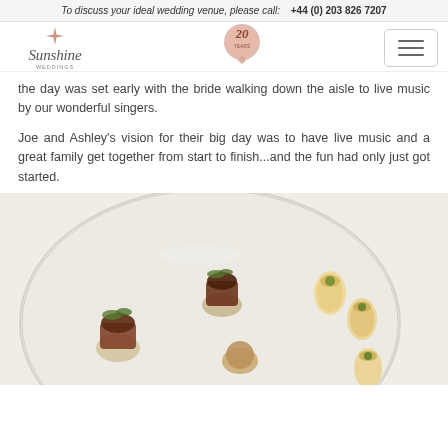To discuss your ideal wedding venue, please call:   +44 (0) 203 826 7207
[Figure (logo): Sunshine Weddings logo with star icon and 20 Years badge, plus hamburger menu button]
the day was set early with the bride walking down the aisle to live music by our wonderful singers.
Joe and Ashley's vision for their big day was to have live music and a great family get together from start to finish...and the fun had only just got started.
[Figure (photo): A glass plate with various wedding canapés including meat on toast, rolled pasta tubes with herb filling, and other appetizers arranged on a light surface.]